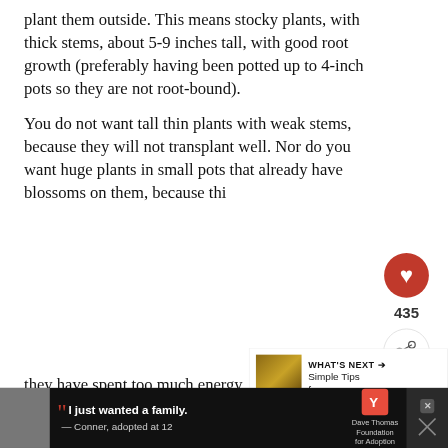plant them outside.  This means stocky plants, with thick stems, about 5-9 inches tall, with good root growth (preferably having been potted up to 4-inch pots so they are not root-bound).
You do not want tall thin plants with weak stems, because they will not transplant well.  Nor do you want huge plants in small pots that already have blossoms on them, because thi... they have spent too much energy fo... ...em.
[Figure (screenshot): UI overlay showing heart/like button with count 435, share button, What's Next thumbnail with label 'Simple Tips for...', and advertisement banner at bottom with Dave Thomas Foundation for Adoption ad featuring quote 'I just wanted a family. — Conner, adopted at 12']